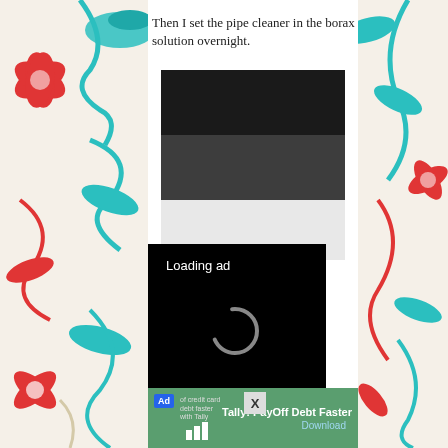[Figure (illustration): Decorative floral/swirl pattern in red, teal/cyan, and cream on both side panels of the page]
Then I set the pipe cleaner in the borax solution overnight.
[Figure (photo): Photo of a stove top with round black knobs and what appears to be a pipe cleaner or object placed on the stove surface, partially obscured by a loading video ad overlay]
[Figure (screenshot): Video ad overlay with black background showing 'Loading ad' text, a circular loading spinner, and video playback controls (pause, expand, mute icons)]
[Figure (infographic): Advertisement banner for Tally: PayOff Debt Faster app with green background, Ad badge, small credit card debt text, Tally bar logo, and Download link]